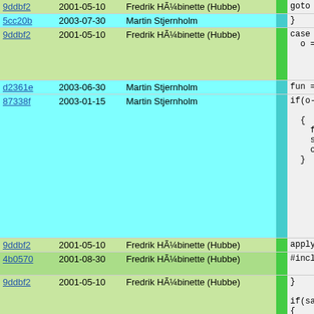| Hash | Date | Author |  | Code |
| --- | --- | --- | --- | --- |
| 9ddbf2 | 2001-05-10 | Fredrik HÃ¼binette (Hubbe) |  | goto a |
| 5cc20b | 2003-07-30 | Martin Stjernholm |  | } |
| 9ddbf2 | 2001-05-10 | Fredrik HÃ¼binette (Hubbe) |  | case APP
  o = (s |
| d2361e | 2003-06-30 | Martin Stjernholm |  | fun = |
| 87338f | 2003-01-15 | Martin Stjernholm |  | if(o->
  fun
{
  fun=
  scop
  o=sc
} |
| 9ddbf2 | 2001-05-10 | Fredrik HÃ¼binette (Hubbe) |  | apply_lo |
| 4b0570 | 2001-08-30 | Fredrik HÃ¼binette (Hubbe) |  | #include "
  break; |
| 9ddbf2 | 2001-05-10 | Fredrik HÃ¼binette (Hubbe) |  | }

if(save_
{
 |
| bd8fb8 | 2004-04-03 | Martin Stjernholm |  | if(typ |
| 9ddbf2 | 2001-05-10 | Fredrik HÃ¼binette (Hubbe) |  | push |